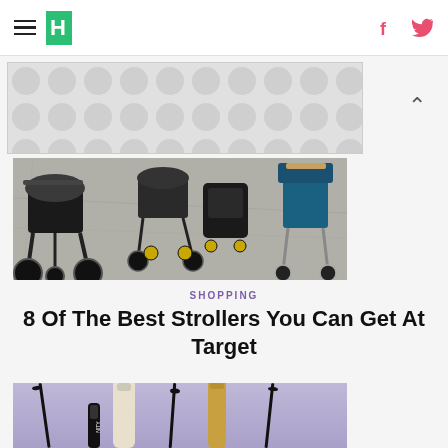HuffPost header with navigation hamburger menu, logo, Facebook and Twitter icons
[Figure (other): Advertisement banner with grey polka dot / circle pattern background]
[Figure (photo): Overhead photo of multiple strollers on a concrete surface including a jogging stroller, travel systems, and an umbrella stroller]
SHOPPING
8 Of The Best Strollers You Can Get At Target
[Figure (photo): Photo of multiple mascara wands and tubes against a light purple background]